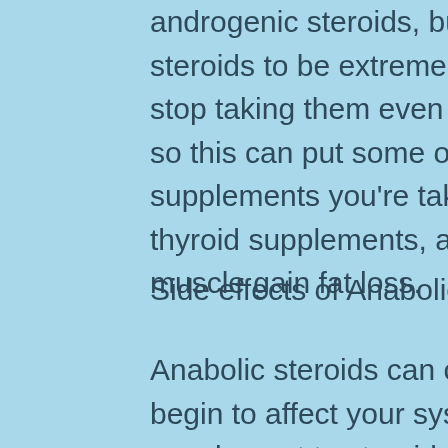androgenic steroids, but many people find anabolic steroids to be extremely addictive since you can never stop taking them even for weeks or months at a time, so this can put some of the other anabolic supplements you're taking, such as anabolics or thyroid supplements, at risk, best supplements for muscle gain fat loss.
Side effects of Anabolics
Anabolic steroids can cause serious issues if they begin to affect your system or body, closest supplement to steroids. Although anabolic steroids are completely safe for women, men are advised to use caution and only take anabolic steroids under the supervision of a physician.
Sudden, severe reactions and side effects associated with anabolic steroids do occur if they are taken in extreme amounts, so be